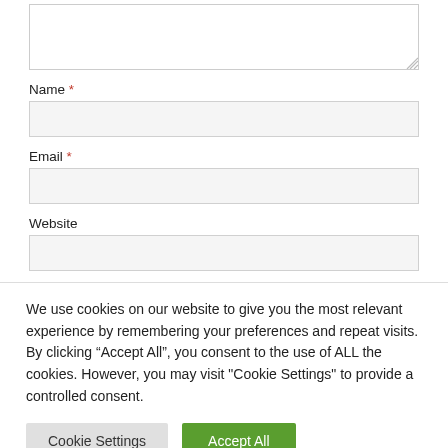Name *
Email *
Website
Save my name, email, and website in this browser for the
We use cookies on our website to give you the most relevant experience by remembering your preferences and repeat visits. By clicking “Accept All”, you consent to the use of ALL the cookies. However, you may visit "Cookie Settings" to provide a controlled consent.
Cookie Settings
Accept All